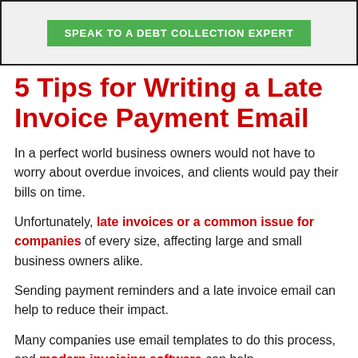[Figure (other): Green button labeled 'SPEAK TO A DEBT COLLECTION EXPERT' inside a bordered banner box with gray background]
5 Tips for Writing a Late Invoice Payment Email
In a perfect world business owners would not have to worry about overdue invoices, and clients would pay their bills on time.
Unfortunately, late invoices or a common issue for companies of every size, affecting large and small business owners alike.
Sending payment reminders and a late invoice email can help to reduce their impact.
Many companies use email templates to do this process, and modern invoicing software can help